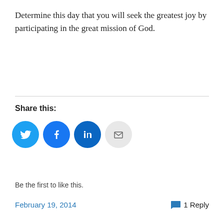Determine this day that you will seek the greatest joy by participating in the great mission of God.
Share this:
[Figure (infographic): Social sharing buttons: Twitter (blue circle), Facebook (blue circle), LinkedIn (dark blue circle), Email (gray circle)]
[Figure (infographic): Like button with star icon and text 'Like'. Below: 'Be the first to like this.']
February 19, 2014   1 Reply
Get Your Passport
[Figure (photo): Close-up photo of a passport with visa stamps, showing partial letters 'SA' at top left]